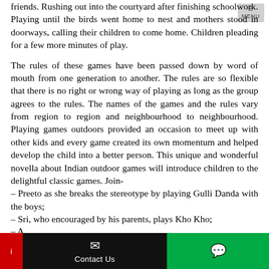friends. Rushing out into the courtyard after finishing schoolwork. Playing until the birds went home to nest and mothers stood in doorways, calling their children to come home. Children pleading for a few more minutes of play.
The rules of these games have been passed down by word of mouth from one generation to another. The rules are so flexible that there is no right or wrong way of playing as long as the group agrees to the rules. The names of the games and the rules vary from region to region and neighbourhood to neighbourhood. Playing games outdoors provided an occasion to meet up with other kids and every game created its own momentum and helped develop the child into a better person. This unique and wonderful novella about Indian outdoor games will introduce children to the delightful classic games. Join-
– Preeto as she breaks the stereotype by playing Gulli Danda with the boys;
– Sri, who encouraged by his parents, plays Kho Kho;
Contact Us